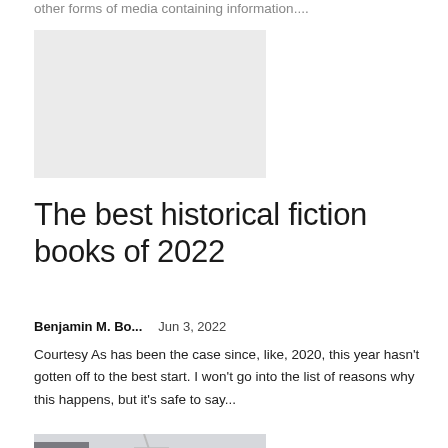other forms of media containing information....
[Figure (photo): Light gray placeholder image rectangle]
The best historical fiction books of 2022
Benjamin M. Bo...   Jun 3, 2022
Courtesy As has been the case since, like, 2020, this year hasn't gotten off to the best start. I won't go into the list of reasons why this happens, but it's safe to say...
[Figure (photo): Street scene photo showing urban buildings and a street view]